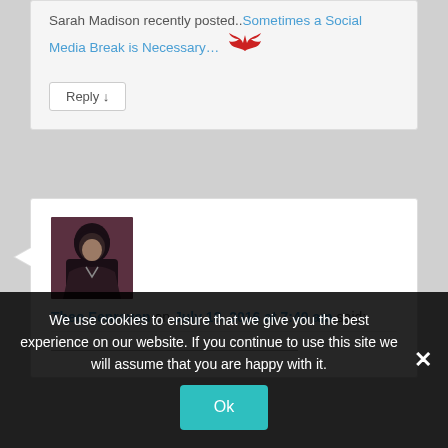Sarah Madison recently posted..Sometimes a Social Media Break is Necessary… [wings icon]
Reply ↓
[Figure (photo): Avatar photo of a person in dark clothing with hood]
Theo Fenraven on July 18, 2016 at 7:40 am said:
We use cookies to ensure that we give you the best experience on our website. If you continue to use this site we will assume that you are happy with it.
Ok